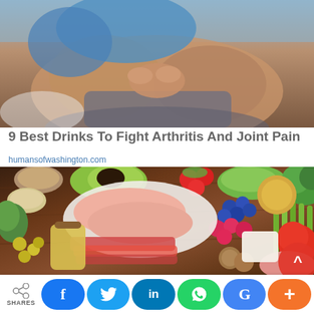[Figure (photo): Person sitting with knees up, wearing blue and grey clothing, viewed from front, cropped at torso/legs area.]
9 Best Drinks To Fight Arthritis And Joint Pain
humansofwashington.com
[Figure (photo): Overhead flat-lay of assorted healthy foods on a dark wooden surface including avocado, strawberries, blueberries, raspberries, raw meat/chicken, bacon, asparagus, broccoli, tomato, onion, spinach, olive oil, olives, cheese, walnuts, grains, and legumes.]
SHARES